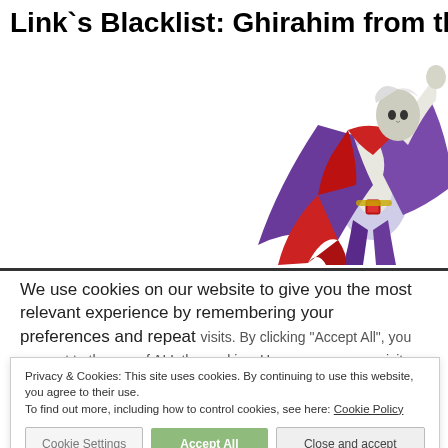Link`s Blacklist: Ghirahim from the Legen
[Figure (illustration): Ghirahim character illustration from Legend of Zelda: Skyward Sword, shown in a dramatic pose with purple cape/outfit and white skin, raising one hand up.]
We use cookies on our website to give you the most relevant experience by remembering your preferences and repeat visits. By clicking "Accept All", you consent to the use of ALL the cookies. However, you may visit "Cookie Settings" to provide a controlled consent.
Privacy & Cookies: This site uses cookies. By continuing to use this website, you agree to their use. To find out more, including how to control cookies, see here: Cookie Policy
Cookie Settings
Accept All
Close and accept